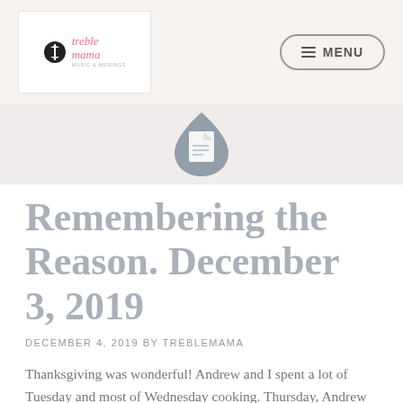[Figure (logo): Treble Mama blog logo with musical note icon and decorative text]
[Figure (illustration): Gray teardrop/document category icon with white document symbol inside]
Remembering the Reason. December 3, 2019
DECEMBER 4, 2019 BY TREBLEMAMA
Thanksgiving was wonderful! Andrew and I spent a lot of Tuesday and most of Wednesday cooking. Thursday, Andrew cooked the turkey, and all I had to do was make sure everything was heated up! I am so thankful Andrew